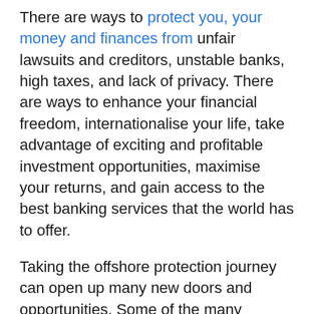There are ways to protect you, your money and finances from unfair lawsuits and creditors, unstable banks, high taxes, and lack of privacy. There are ways to enhance your financial freedom, internationalise your life, take advantage of exciting and profitable investment opportunities, maximise your returns, and gain access to the best banking services that the world has to offer.
Taking the offshore protection journey can open up many new doors and opportunities. Some of the many benefits include: Increased personal freedom through second citizenship and/or residency, Greater financial freedom with access to a wider range of financial tools and investment opportunities, enhanced privacy, and more flexibility, Security and stability with sophisticated offshore